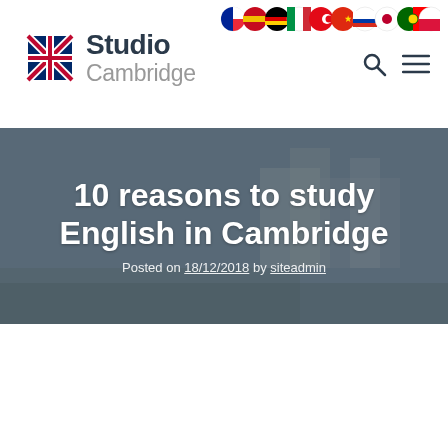[Figure (logo): Studio Cambridge logo with Union Jack flag icon and text 'Studio Cambridge']
[Figure (screenshot): Row of country flag icons for language selection (French, Spanish, German, Italian, Turkish, Chinese, Russian, Japanese, Portuguese, Polish)]
[Figure (photo): Hero banner showing Cambridge city aerial view with overlay text '10 reasons to study English in Cambridge', Posted on 18/12/2018 by siteadmin]